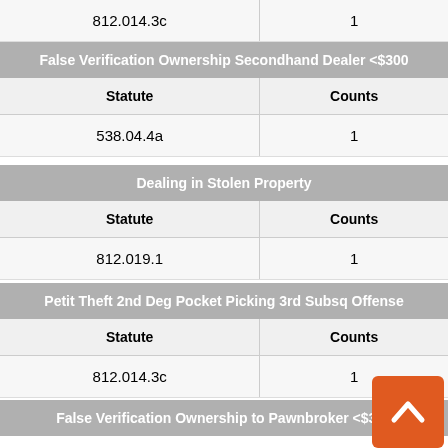| Statute | Counts |
| --- | --- |
| 812.014.3c | 1 |
| Statute | Counts |
| --- | --- |
| 538.04.4a | 1 |
| Statute | Counts |
| --- | --- |
| 812.019.1 | 1 |
| Statute | Counts |
| --- | --- |
| 812.014.3c | 1 |
| Statute | Counts |
| --- | --- |
| 539.001.8b8a | 1 |